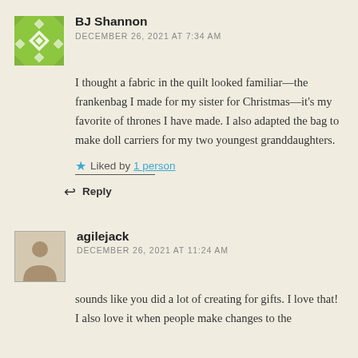[Figure (illustration): Green quilt-pattern avatar icon for BJ Shannon]
BJ Shannon
DECEMBER 26, 2021 AT 7:34 AM
I thought a fabric in the quilt looked familiar—the frankenbag I made for my sister for Christmas—it's my favorite of thrones I have made. I also adapted the bag to make doll carriers for my two youngest granddaughters.
★ Liked by 1 person
↩ Reply
[Figure (photo): Small profile photo thumbnail for agilejack]
agilejack
DECEMBER 26, 2021 AT 11:24 AM
sounds like you did a lot of creating for gifts. I love that! I also love it when people make changes to the